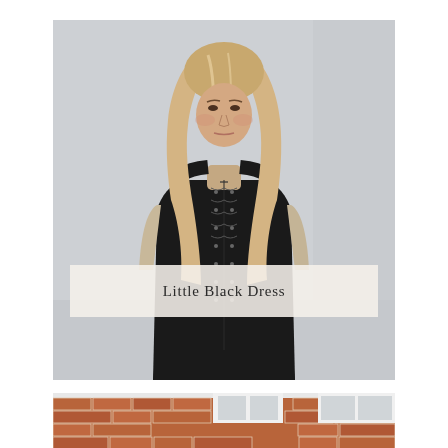[Figure (photo): A blonde woman wearing a black lace-up sleeveless dress, standing against a light grey wall, looking to the side.]
Little Black Dress
[Figure (photo): Bottom portion of a second photo showing a brick building with white-framed windows.]